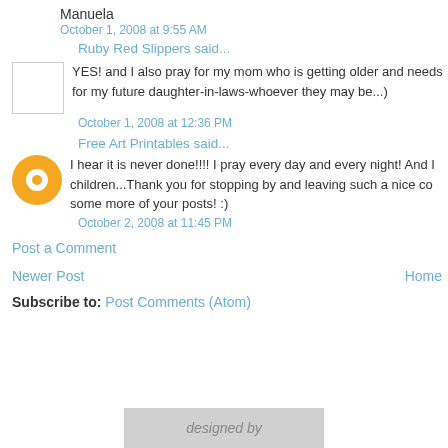Manuela
October 1, 2008 at 9:55 AM
Ruby Red Slippers said...
YES! and I also pray for my mom who is getting older and needs... for my future daughter-in-laws-whoever they may be...)
October 1, 2008 at 12:36 PM
Free Art Printables said...
I hear it is never done!!!! I pray every day and every night! And I... children...Thank you for stopping by and leaving such a nice co... some more of your posts! :)
October 2, 2008 at 11:45 PM
Post a Comment
Newer Post
Home
Subscribe to: Post Comments (Atom)
designed by